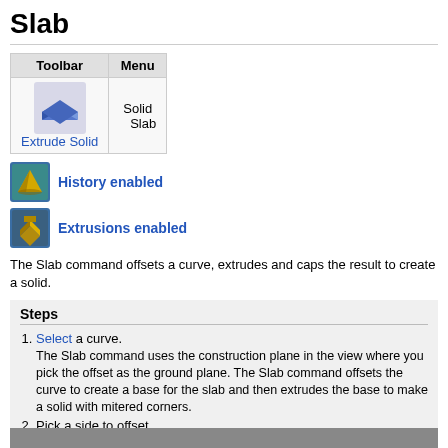Slab
| Toolbar | Menu |
| --- | --- |
| [Extrude Solid icon] | Solid
Slab |
[Figure (illustration): History enabled icon with blue-teal background and gold pyramid shape, with link text 'History enabled']
[Figure (illustration): Extrusions enabled icon with blue-teal background and gold extrusion shape, with link text 'Extrusions enabled']
The Slab command offsets a curve, extrudes and caps the result to create a solid.
Steps
Select a curve.
The Slab command uses the construction plane in the view where you pick the offset as the ground plane. The Slab command offsets the curve to create a base for the slab and then extrudes the base to make a solid with mitered corners.
Pick a side to offset.
Pick a distance.
Pick the height.
[Figure (screenshot): Bottom strip/toolbar area, gray background]